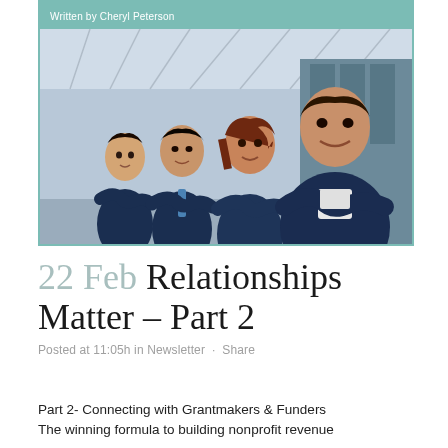Written by Cheryl Peterson
[Figure (photo): Four business professionals in navy suits standing with arms crossed, smiling, in a modern corridor with glass ceiling]
22 Feb Relationships Matter – Part 2
Posted at 11:05h in Newsletter · Share
Part 2- Connecting with Grantmakers & Funders
The winning formula to building nonprofit revenue